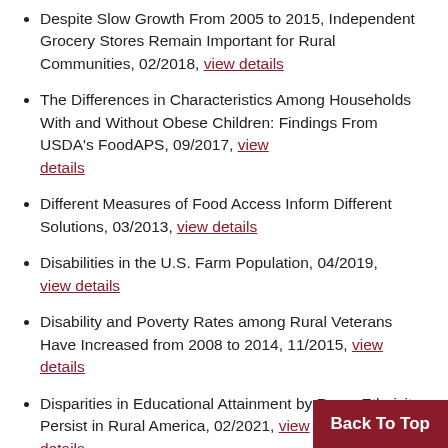Despite Slow Growth From 2005 to 2015, Independent Grocery Stores Remain Important for Rural Communities, 02/2018, view details
The Differences in Characteristics Among Households With and Without Obese Children: Findings From USDA's FoodAPS, 09/2017, view details
Different Measures of Food Access Inform Different Solutions, 03/2013, view details
Disabilities in the U.S. Farm Population, 04/2019, view details
Disability and Poverty Rates among Rural Veterans Have Increased from 2008 to 2014, 11/2015, view details
Disparities in Educational Attainment by Race, Ethnicity Persist in Rural America, 02/2021, view details